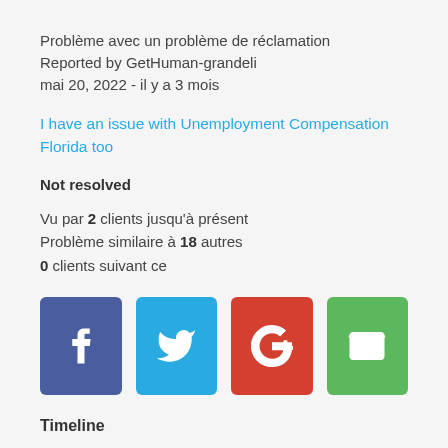Problème avec un problème de réclamation
Reported by GetHuman-grandeli
mai 20, 2022 - il y a 3 mois
I have an issue with Unemployment Compensation Florida too
Not resolved
Vu par 2 clients jusqu'à présent
Problème similaire à 18 autres
0 clients suivant ce
[Figure (infographic): Four social share buttons: Facebook (blue), Twitter (light blue), Google+ (red), Email (green)]
Timeline